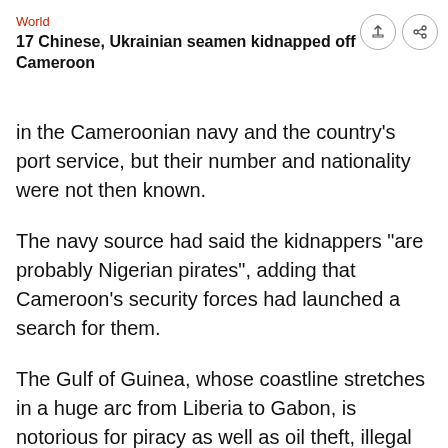World
17 Chinese, Ukrainian seamen kidnapped off Cameroon
in the Cameroonian navy and the country's port service, but their number and nationality were not then known.
The navy source had said the kidnappers "are probably Nigerian pirates", adding that Cameroon's security forces had launched a search for them.
The Gulf of Guinea, whose coastline stretches in a huge arc from Liberia to Gabon, is notorious for piracy as well as oil theft, illegal fishing and human and drugs trafficking.
In Malaysia, Noel Choong, who heads the International Maritime Bureau (IMB), a watchdog